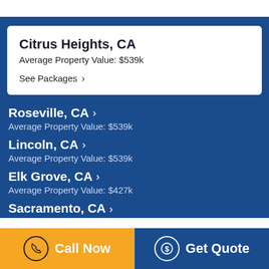Citrus Heights, CA
Average Property Value: $539k
See Packages ›
Roseville, CA › 
Average Property Value: $539k
Lincoln, CA › 
Average Property Value: $539k
Elk Grove, CA › 
Average Property Value: $427k
Sacramento, CA ›
Call Now | Get Quote